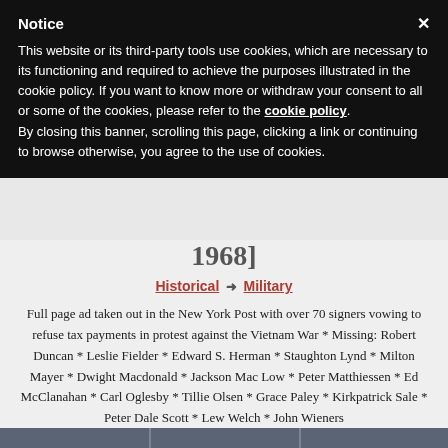Notice
This website or its third-party tools use cookies, which are necessary to its functioning and required to achieve the purposes illustrated in the cookie policy. If you want to know more or withdraw your consent to all or some of the cookies, please refer to the cookie policy.
By closing this banner, scrolling this page, clicking a link or continuing to browse otherwise, you agree to the use of cookies.
[... (signing page) January 5, 1968]
Historical → Military
Full page ad taken out in the New York Post with over 70 signers vowing to refuse tax payments in protest against the Vietnam War * Missing: Robert Duncan * Leslie Fielder * Edward S. Herman * Staughton Lynd * Milton Mayer * Dwight Macdonald * Jackson Mac Low * Peter Matthiessen * Ed McClanahan * Carl Oglesby * Tillie Olsen * Grace Paley * Kirkpatrick Sale * Peter Dale Scott * Lew Welch * John Wieners